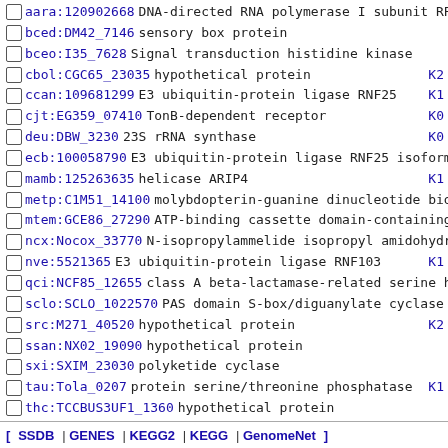aara:120902668 DNA-directed RNA polymerase I subunit RP K0...
bced:DM42_7146 sensory box protein
bceo:I35_7628 Signal transduction histidine kinase
cbol:CGC65_23035 hypothetical protein K2...
ccan:109681299 E3 ubiquitin-protein ligase RNF25 K1...
cjt:EG359_07410 TonB-dependent receptor K0...
deu:DBW_3230 23S rRNA synthase K0...
ecb:100058790 E3 ubiquitin-protein ligase RNF25 isoform K1...
mamb:125263635 helicase ARIP4 K1...
metp:C1M51_14100 molybdopterin-guanine dinucleotide bio K0...
mtem:GCE86_27290 ATP-binding cassette domain-containing K2...
ncx:Nocox_33770 N-isopropylammelide isopropyl amidohydr
nve:5521365 E3 ubiquitin-protein ligase RNF103 K1...
qci:NCF85_12655 class A beta-lactamase-related serine h K1...
sclo:SCLO_1022570 PAS domain S-box/diguanylate cyclase
src:M271_40520 hypothetical protein K2...
ssan:NX02_19090 hypothetical protein
sxi:SXIM_23030 polyketide cyclase
tau:Tola_0207 protein serine/threonine phosphatase K1...
thc:TCCBUS3UF1_1360 hypothetical protein
[ SSDB | GENES | KEGG2 | KEGG | GenomeNet ]